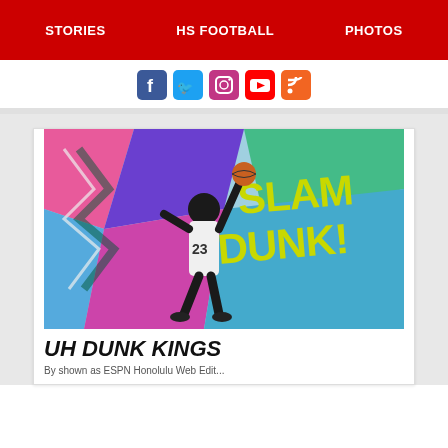STORIES | HS FOOTBALL | PHOTOS
[Figure (other): Social media icons row: Facebook (blue), Twitter (light blue), Instagram (pink/purple), YouTube (red), RSS (orange)]
[Figure (photo): Basketball player wearing jersey number 23 jumping to dunk against a colorful graffiti mural background with 'SLAM DUNK!' text in large yellow-green letters]
UH DUNK KINGS
By shown as ESPNL Honolulu Web Edit...